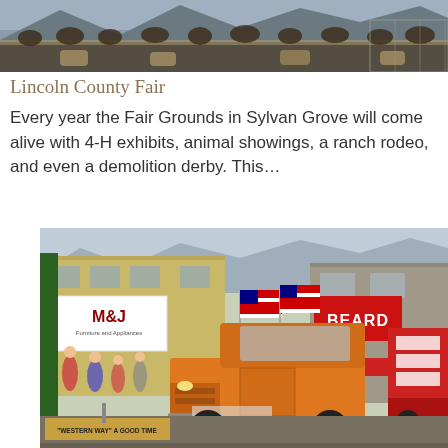[Figure (photo): Crowd at a fairgrounds, people and animals visible along a fence in a wide shot from above]
Lincoln County Fair
Every year the Fair Grounds in Sylvan Grove will come alive with 4-H exhibits, animal showings, a ranch rodeo, and even a demolition derby. This…
[Figure (photo): Parade scene in small town main street with an orange vintage truck decorated with American flags, storefronts including M&J Furniture and Appliances and a red-awning store (BEARD), people watching along the sidewalk, and a red float on the right side.]